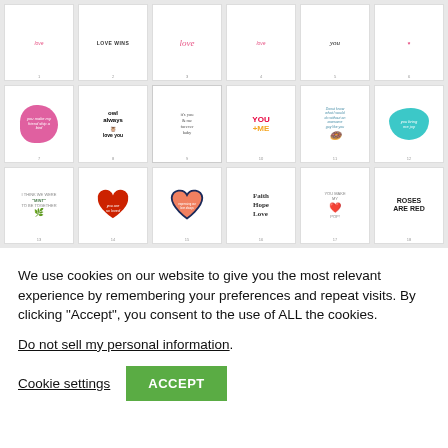[Figure (screenshot): Grid of 18 Valentine/love-themed greeting card thumbnails arranged in 3 rows of 6 columns]
We use cookies on our website to give you the most relevant experience by remembering your preferences and repeat visits. By clicking “Accept”, you consent to the use of ALL the cookies.
Do not sell my personal information.
Cookie settings
ACCEPT